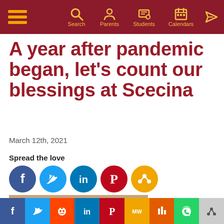Search Parents Students Calendars
A year after pandemic began, let's count our blessings at Scecina
March 12th, 2021
Spread the love
[Figure (photo): Man in blue suit sitting at office desk with framed certificates on the wall behind]
f Twitter Reddit in Pinterest MW Mix WhatsApp Share